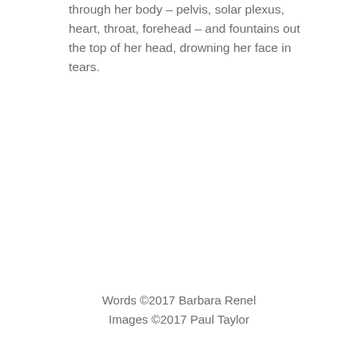through her body – pelvis, solar plexus, heart, throat, forehead – and fountains out the top of her head, drowning her face in tears.
Words ©2017 Barbara Renel
Images ©2017 Paul Taylor